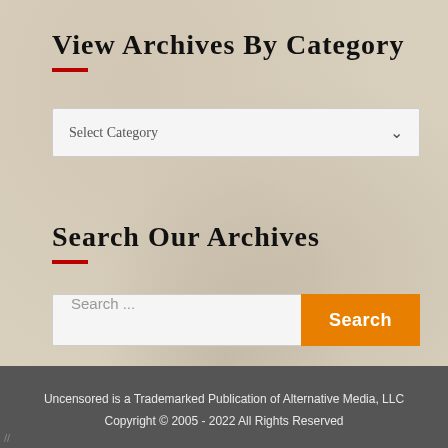View Archives By Category
[Figure (screenshot): Dropdown selector labeled 'Select Category' with a chevron arrow on the right]
Search Our Archives
[Figure (screenshot): Search input box with placeholder 'Search ...' and an orange 'Search' button]
Uncensored is a Trademarked Publication of Alternative Media, LLC
Copyright © 2005 - 2022 All Rights Reserved